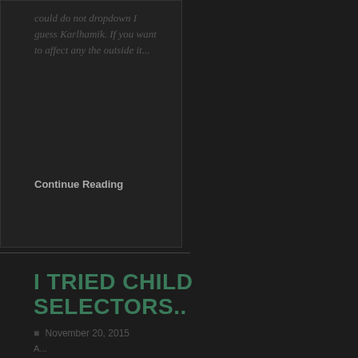could do not dropdown I guess Karlhamik. If you want to affect any the outside it...
Continue Reading
I TRIED CHILD SELECTORS..
November 20, 2015
A...